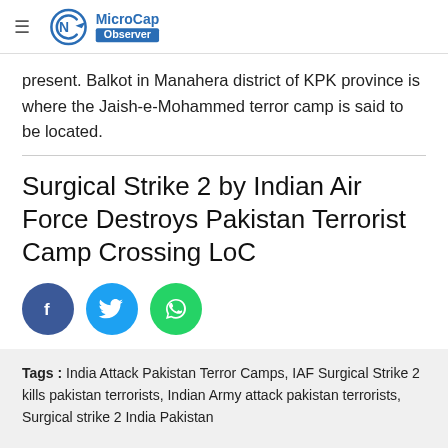MicroCap Observer
present. Balkot in Manahera district of KPK province is where the Jaish-e-Mohammed terror camp is said to be located.
Surgical Strike 2 by Indian Air Force Destroys Pakistan Terrorist Camp Crossing LoC
[Figure (infographic): Social share buttons: Facebook (dark blue circle with f icon), Twitter (light blue circle with bird icon), WhatsApp (green circle with phone icon)]
Tags : India Attack Pakistan Terror Camps, IAF Surgical Strike 2 kills pakistan terrorists, Indian Army attack pakistan terrorists, Surgical strike 2 India Pakistan